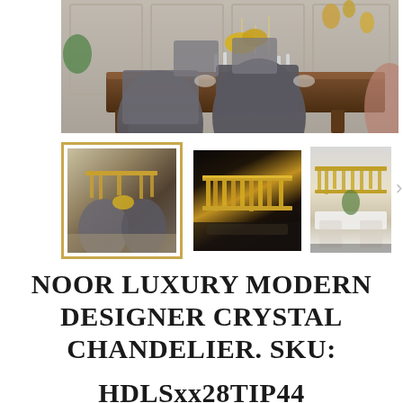[Figure (photo): Large photo of a luxury dining room with dark wood table, grey upholstered chairs, yellow flower arrangement, crystal glassware, and decorative gold wall pieces]
[Figure (photo): Thumbnail 1 (selected, gold border): Crystal chandelier in dining room with grey chairs and yellow flowers]
[Figure (photo): Thumbnail 2: Close-up of gold/crystal rectangular chandelier on dark background]
[Figure (photo): Thumbnail 3: Gold rectangular crystal chandelier hanging above white dining table in bright room]
NOOR LUXURY MODERN DESIGNER CRYSTAL CHANDELIER. SKU: HDLSxx28TIP44